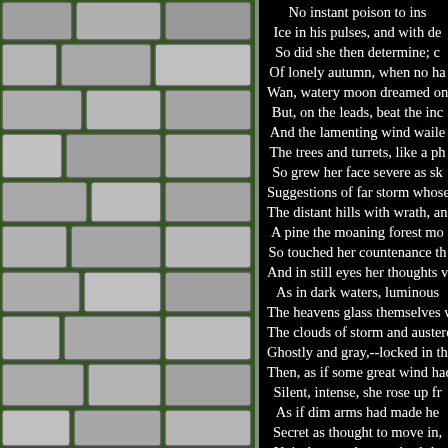[Figure (illustration): Stone wall with green moss/grass between rocks, rendered as a tiled texture on the left side of the page.]
No instant poison to ins
Ice in his pulses, and with de
So did she then determine; c
Of lonely autumn, when no ha
Wan, watery moon dreamed on the
But, on the leads, beat the inc
And the lamenting wind waile
The trees and turrets, like a ph
So grew her face severe as sk
Suggestions of far storm whose
The distant hills with wrath, and
A pine the moaning forest mo
So touched her countenance th
And in still eyes her thoughts v
As in dark waters, luminous
The heavens glass themselves whe
The clouds of storm and austere s
Ghostly and gray,--locked in their
Then, as if some great wind had
Silent, intense, she rose up fr
As if dim arms had made he
Secret as thought to move in,
Noiseless as sleep and subtle
Poised like a light and borne
She trod the gusty hall wher
The hanging scrolled dim P